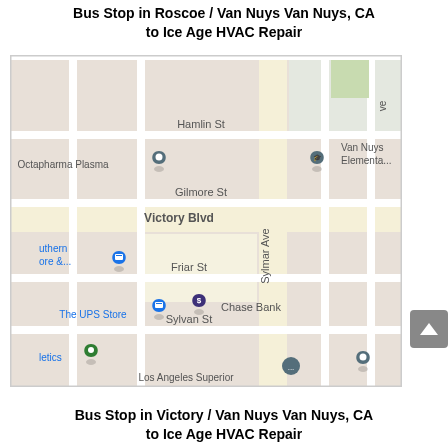Bus Stop in Roscoe / Van Nuys Van Nuys, CA to Ice Age HVAC Repair
[Figure (map): Google Maps screenshot showing Van Nuys, CA neighborhood with streets including Hamlin St, Gilmore St, Victory Blvd, Friar St, Sylvan St, and Sylmar Ave. Landmarks shown include Octapharma Plasma, Van Nuys Elementary, The UPS Store, Chase Bank, and a green map pin. A blue location pin is shown near Friar St.]
Bus Stop in Victory / Van Nuys Van Nuys, CA to Ice Age HVAC Repair